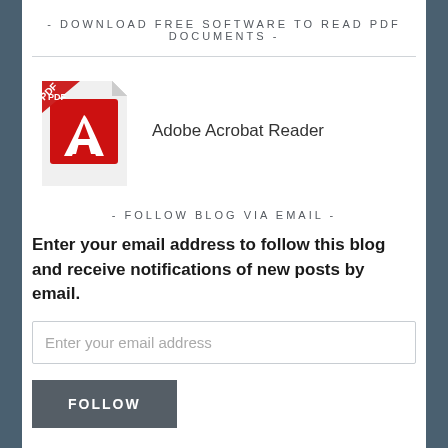- DOWNLOAD FREE SOFTWARE TO READ PDF DOCUMENTS -
[Figure (logo): Adobe Acrobat Reader PDF icon - red square with white Acrobat logo on a folded paper document background, with a red 'PDF' badge in the top left corner]
Adobe Acrobat Reader
- FOLLOW BLOG VIA EMAIL -
Enter your email address to follow this blog and receive notifications of new posts by email.
Enter your email address
FOLLOW